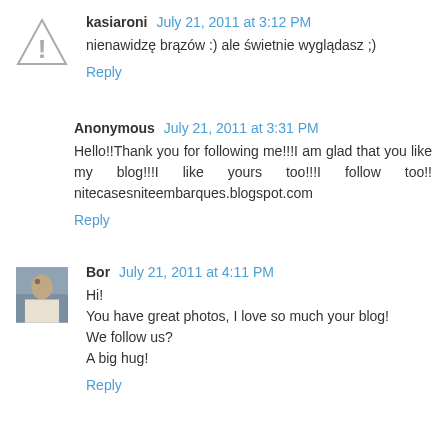kasiaroni  July 21, 2011 at 3:12 PM
nienawidzę brązów :) ale świetnie wyglądasz ;)
Reply
Anonymous  July 21, 2011 at 3:31 PM
Hello!!Thank you for following me!!!I am glad that you like my blog!!!I like yours too!!!I follow too!! nitecasesniteembarques.blogspot.com
Reply
Bor  July 21, 2011 at 4:11 PM
Hi!
You have great photos, I love so much your blog!
We follow us?
A big hug!
Reply